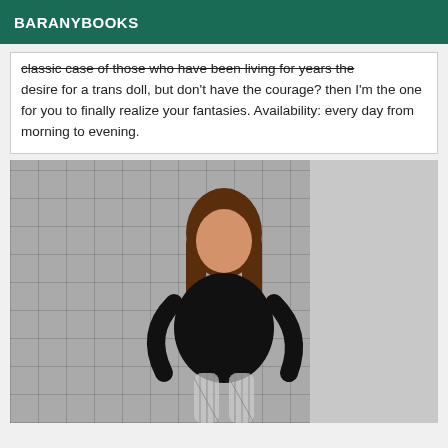BARANYBOOKS
classic case of those who have been living for years the desire for a trans doll, but don't have the courage? then I'm the one for you to finally realize your fantasies. Availability: every day from morning to evening.
[Figure (photo): A person with long brown hair wearing a black outfit seated on a dark sofa, with a black-and-white collage wallpaper in the background.]